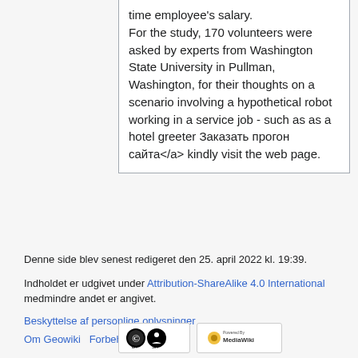time employee's salary. For the study, 170 volunteers were asked by experts from Washington State University in Pullman, Washington, for their thoughts on a scenario involving a hypothetical robot working in a service job - such as as a hotel greeter Заказать прогон сайта</a> kindly visit the web page.
Denne side blev senest redigeret den 25. april 2022 kl. 19:39.
Indholdet er udgivet under Attribution-ShareAlike 4.0 International medmindre andet er angivet.
Beskyttelse af personlige oplysninger
Om Geowiki   Forbehold
[Figure (logo): CC BY-SA license badge]
[Figure (logo): Powered by MediaWiki badge]